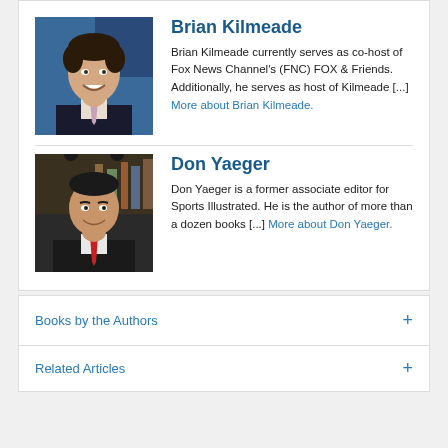[Figure (photo): Headshot of Brian Kilmeade, man in suit smiling against blue background]
Brian Kilmeade
Brian Kilmeade currently serves as co-host of Fox News Channel's (FNC) FOX & Friends. Additionally, he serves as host of Kilmeade [...] More about Brian Kilmeade.
[Figure (photo): Headshot of Don Yaeger, man in suit with red tie]
Don Yaeger
Don Yaeger is a former associate editor for Sports Illustrated. He is the author of more than a dozen books [...] More about Don Yaeger.
Books by the Authors
Related Articles